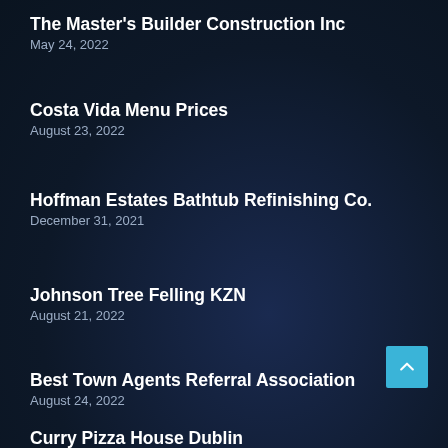The Master's Builder Construction Inc
May 24, 2022
Costa Vida Menu Prices
August 23, 2022
Hoffman Estates Bathtub Refinishing Co.
December 31, 2021
Johnson Tree Felling KZN
August 21, 2022
Best Town Agents Referral Association
August 24, 2022
Curry Pizza House Dublin